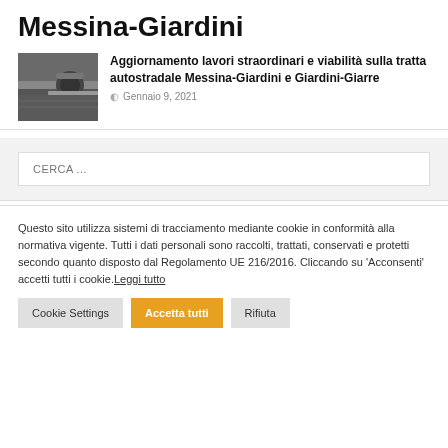Messina-Giardini
Aggiornamento lavori straordinari e viabilità sulla tratta autostradale Messina-Giardini e Giardini-Giarre
Gennaio 9, 2021
[Figure (photo): Photo of road/asphalt surface with a roller]
CERCA ...
Questo sito utilizza sistemi di tracciamento mediante cookie in conformità alla normativa vigente. Tutti i dati personali sono raccolti, trattati, conservati e protetti secondo quanto disposto dal Regolamento UE 216/2016. Cliccando su 'Acconsenti' accetti tutti i cookie. Leggi tutto
Cookie Settings | Accetta tutti | Rifiuta